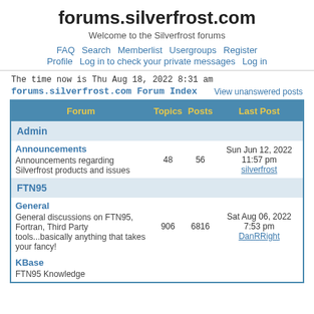forums.silverfrost.com
Welcome to the Silverfrost forums
FAQ  Search  Memberlist  Usergroups  Register  Profile  Log in to check your private messages  Log in
The time now is Thu Aug 18, 2022 8:31 am
forums.silverfrost.com Forum Index
View unanswered posts
| Forum | Topics | Posts | Last Post |
| --- | --- | --- | --- |
| Admin |  |  |  |
| Announcements
Announcements regarding Silverfrost products and issues | 48 | 56 | Sun Jun 12, 2022 11:57 pm
silverfrost |
| FTN95 |  |  |  |
| General
General discussions on FTN95, Fortran, Third Party tools...basically anything that takes your fancy! | 906 | 6816 | Sat Aug 06, 2022 7:53 pm
DanRRight |
| KBase
FTN95 Knowledge |  |  |  |